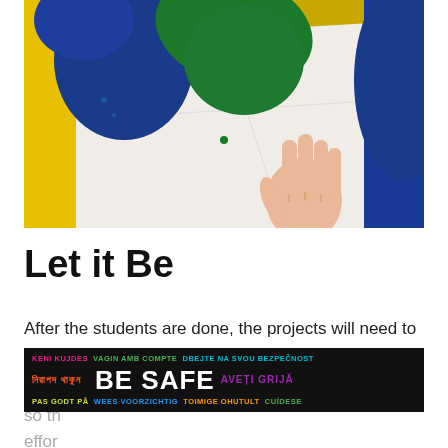[Figure (photo): Overhead view of a child's hand pressing flat on white paper/paper towels on a yellow tray, surrounded by blue and green fabric or paint blobs]
Let it Be
After the students are done, the projects will need to dry for a little while.  It’s best to let them dry on the trays or on the paper towels so th... effor...
KENI KUJDES VAGIN AMB COMPTE DBEJTE NA SVOU BEZPEČNOST নিরাপদ থাকুন BE SAFE AVEȚI GRIJĂ PAS GODT PÅ WEES VOORZICHTIG TOIMIGE OHUTULT CUÎDESE